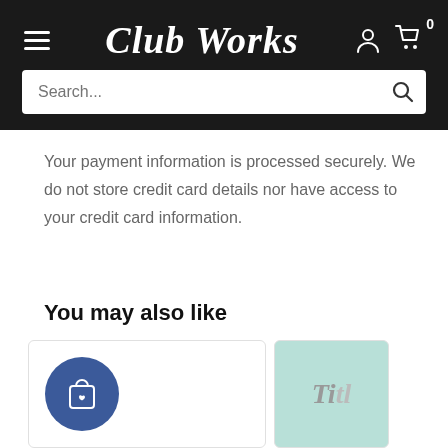Club Works
Your payment information is processed securely. We do not store credit card details nor have access to your credit card information.
You may also like
[Figure (illustration): Product card with a dark blue circular icon showing a shopping bag with a heart, and a partial second product card showing a teal/mint background with italic script text 'Ti...']